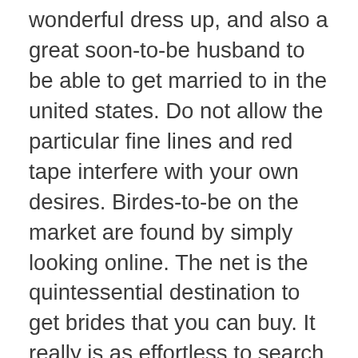wonderful dress up, and also a great soon-to-be husband to be able to get married to in the united states. Do not allow the particular fine lines and red tape interfere with your own desires. Birdes-to-be on the market are found by simply looking online. The net is the quintessential destination to get brides that you can buy. It really is as effortless to search for a bride via worldwide as it is to get a woman available for sale from the inside nation. Using an incredible number of women via all of the walks of life, the earth is a much smaller sized spot. Because of this reality, you should have usage of brides available coming from across the world. The normal size of a major international star of the wedding can be in between 5’ 6” in addition to 6’